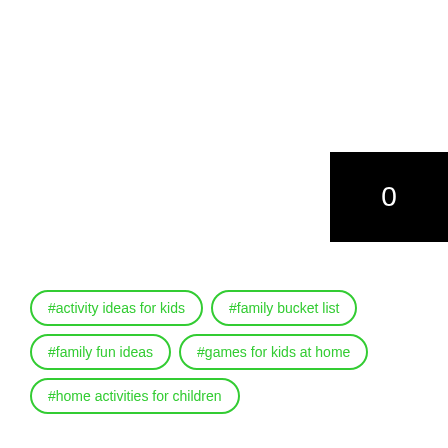[Figure (other): Black rectangle with white number 0, positioned at top-right area of page]
#activity ideas for kids
#family bucket list
#family fun ideas
#games for kids at home
#home activities for children